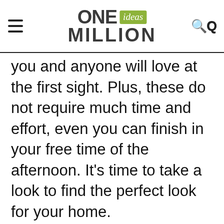ONE ideas MILLION
you and anyone will love at the first sight. Plus, these do not require much time and effort, even you can finish in your free time of the afternoon. It’s time to take a look to find the perfect look for your home.
< Advertisement >